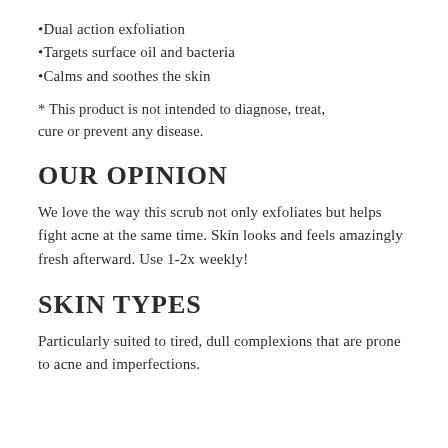•Dual action exfoliation
•Targets surface oil and bacteria
•Calms and soothes the skin
* This product is not intended to diagnose, treat, cure or prevent any disease.
OUR OPINION
We love the way this scrub not only exfoliates but helps fight acne at the same time. Skin looks and feels amazingly fresh afterward. Use 1-2x weekly!
SKIN TYPES
Particularly suited to tired, dull complexions that are prone to acne and imperfections.